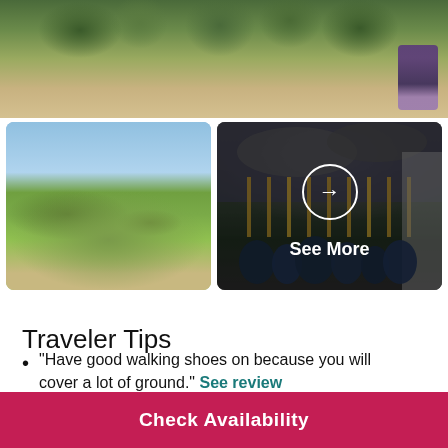[Figure (photo): Top panoramic photo of formal gardens at Versailles with trimmed hedges and sandy pathways, person visible in top right corner]
[Figure (photo): Left bottom photo showing aerial view of geometric gardens of Versailles with fountains, topiary trees and pathways extending to horizon]
[Figure (photo): Right bottom photo showing crowd at Versailles gates with 'See More' overlay button and arrow circle]
Traveler Tips
"Have good walking shoes on because you will cover a lot of ground." See review
Check Availability